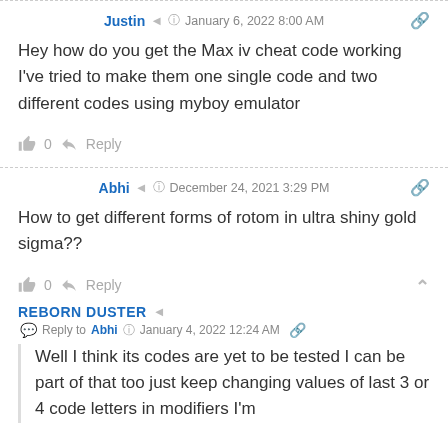Justin  ◁  January 6, 2022 8:00 AM
Hey how do you get the Max iv cheat code working I've tried to make them one single code and two different codes using myboy emulator
0   Reply
Abhi  ◁  December 24, 2021 3:29 PM
How to get different forms of rotom in ultra shiny gold sigma??
0   Reply
REBORN DUSTER  ◁  Reply to Abhi  January 4, 2022 12:24 AM
Well I think its codes are yet to be tested I can be part of that too just keep changing values of last 3 or 4 code letters in modifiers I'm